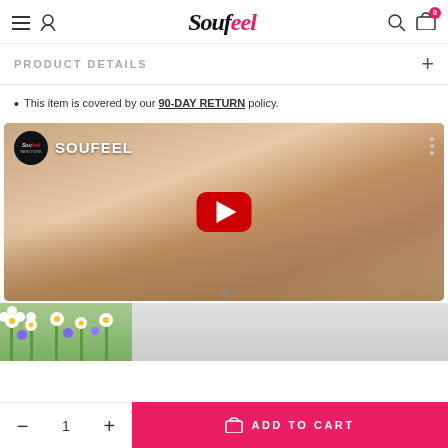Soufeel — navigation header with menu, user, search, cart icons
PRODUCT DETAILS
This item is covered by our 90-DAY RETURN policy.
[Figure (screenshot): YouTube video thumbnail showing Soufeel channel with hands holding jewelry, red play button overlay]
[Figure (photo): Partial image of white and purple flowers on green background]
1 — ADD TO CART